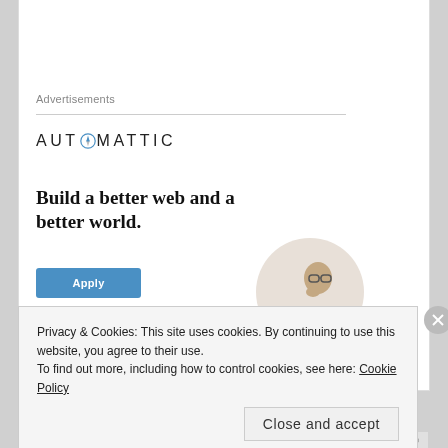Advertisements
[Figure (logo): Automattic logo with compass icon replacing the letter O]
Build a better web and a better world.
[Figure (illustration): Blue Apply button]
[Figure (photo): Person in circular crop, thinking pose, wearing glasses]
Privacy & Cookies: This site uses cookies. By continuing to use this website, you agree to their use.
To find out more, including how to control cookies, see here: Cookie Policy
Close and accept